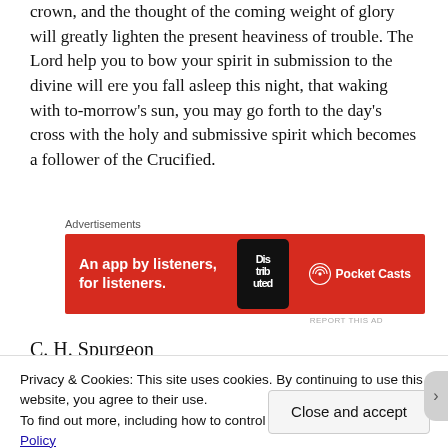crown, and the thought of the coming weight of glory will greatly lighten the present heaviness of trouble. The Lord help you to bow your spirit in submission to the divine will ere you fall asleep this night, that waking with to-morrow's sun, you may go forth to the day's cross with the holy and submissive spirit which becomes a follower of the Crucified.
[Figure (other): Advertisement banner for Pocket Casts app: red background with white bold text 'An app by listeners, for listeners.' alongside a phone graphic and Pocket Casts logo]
C. H. Spurgeon
Privacy & Cookies: This site uses cookies. By continuing to use this website, you agree to their use.
To find out more, including how to control cookies, see here: Cookie Policy